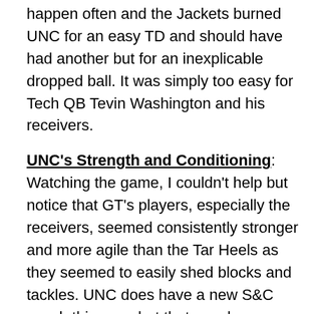happen often and the Jackets burned UNC for an easy TD and should have had another but for an inexplicable dropped ball. It was simply too easy for Tech QB Tevin Washington and his receivers.
UNC's Strength and Conditioning: Watching the game, I couldn't help but notice that GT's players, especially the receivers, seemed consistently stronger and more agile than the Tar Heels as they seemed to easily shed blocks and tackles. UNC does have a new S&C coach this year, but that may be coincidence.
Many UNC fans are lamenting the fact that the Tar Heels could have won this game, and with the ball on the final possession with a chance to tie, there is something to that. On the other hand, Tech had two red zone turnovers and dropped a wide-open touchdown